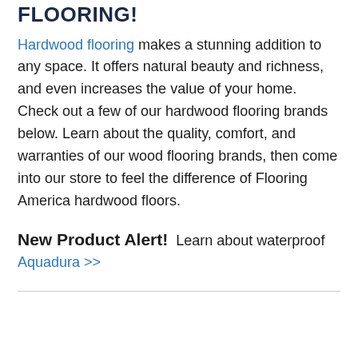FLOORING!
Hardwood flooring makes a stunning addition to any space. It offers natural beauty and richness, and even increases the value of your home. Check out a few of our hardwood flooring brands below. Learn about the quality, comfort, and warranties of our wood flooring brands, then come into our store to feel the difference of Flooring America hardwood floors.
New Product Alert! Learn about waterproof Aquadura >>